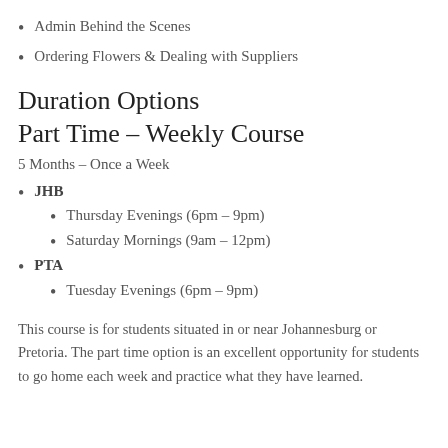Admin Behind the Scenes
Ordering Flowers & Dealing with Suppliers
Duration Options
Part Time – Weekly Course
5 Months – Once a Week
JHB
Thursday Evenings (6pm – 9pm)
Saturday Mornings (9am – 12pm)
PTA
Tuesday Evenings (6pm – 9pm)
This course is for students situated in or near Johannesburg or Pretoria. The part time option is an excellent opportunity for students to go home each week and practice what they have learned.